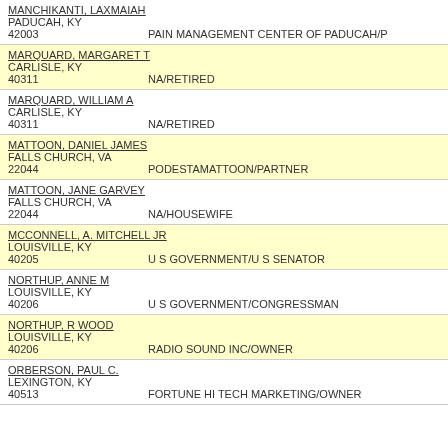| Name/Address | Employer/Occupation |
| --- | --- |
| MANCHIKANTI, LAXMAIAH
PADUCAH, KY
42003 | PAIN MANAGEMENT CENTER OF PADUCAH/P |
| MARQUARD, MARGARET T
CARLISLE, KY
40311 | NA/RETIRED |
| MARQUARD, WILLIAM A
CARLISLE, KY
40311 | NA/RETIRED |
| MATTOON, DANIEL JAMES
FALLS CHURCH, VA
22044 | PODESTAMATTOON/PARTNER |
| MATTOON, JANE GARVEY
FALLS CHURCH, VA
22044 | NA/HOUSEWIFE |
| MCCONNELL, A. MITCHELL JR
LOUISVILLE, KY
40205 | U S GOVERNMENT/U S SENATOR |
| NORTHUP, ANNE M
LOUISVILLE, KY
40206 | U S GOVERNMENT/CONGRESSMAN |
| NORTHUP, R WOOD
LOUISVILLE, KY
40206 | RADIO SOUND INC/OWNER |
| ORBERSON, PAUL C.
LEXINGTON, KY
40513 | FORTUNE HI TECH MARKETING/OWNER |